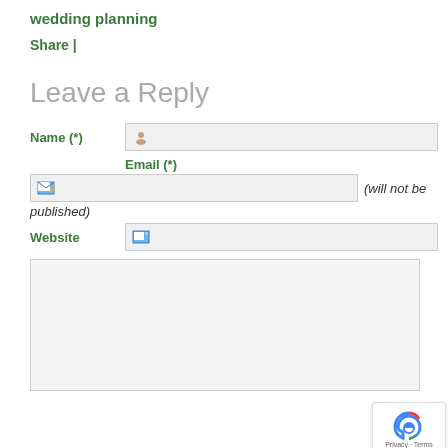wedding planning
Share |
Leave a Reply
Name (*)
Email (*)
(will not be published)
Website
[Figure (screenshot): Web form textarea area (comment box)]
[Figure (logo): reCAPTCHA badge with Privacy and Terms text]